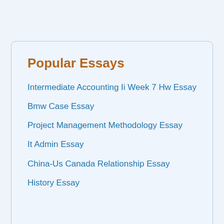Popular Essays
Intermediate Accounting Ii Week 7 Hw Essay
Bmw Case Essay
Project Management Methodology Essay
It Admin Essay
China-Us Canada Relationship Essay
History Essay